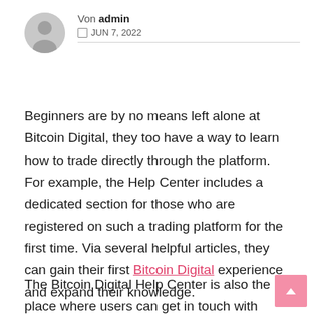Von admin · JUN 7, 2022
Beginners are by no means left alone at Bitcoin Digital, they too have a way to learn how to trade directly through the platform. For example, the Help Center includes a dedicated section for those who are registered on such a trading platform for the first time. Via several helpful articles, they can gain their first Bitcoin Digital experience and expand their knowledge.
The Bitcoin Digital Help Center is also the place where users can get in touch with support –